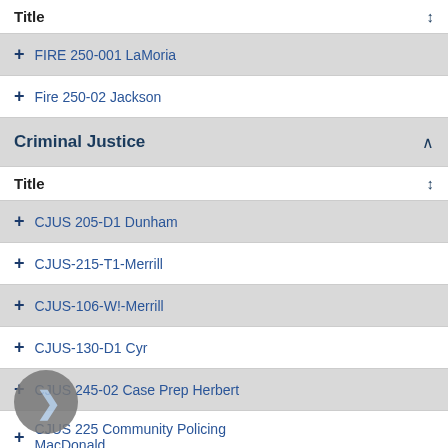| Title | ↕ |
| --- | --- |
| + FIRE 250-001 LaMoria |  |
| + Fire 250-02 Jackson |  |
Criminal Justice
| Title | ↕ |
| --- | --- |
| + CJUS 205-D1 Dunham |  |
| + CJUS-215-T1-Merrill |  |
| + CJUS-106-W!-Merrill |  |
| + CJUS-130-D1 Cyr |  |
| + CJUS 245-02 Case Prep Herbert |  |
| + CJUS 225 Community Policing MacDonald |  |
| + CJUS 125 Criminalistics MacDonald |  |